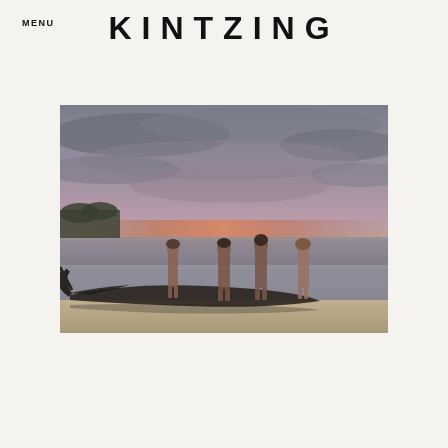MENU
KINTZING
[Figure (photo): Four people standing with their backs to the camera on a dark log or rock formation near the water's edge at dusk/sunset. The sky is overcast with purple and grey clouds, and there is a hint of orange/pink light on the horizon over the water. Driftwood is visible on the left. The setting appears to be a calm beach or shore.]